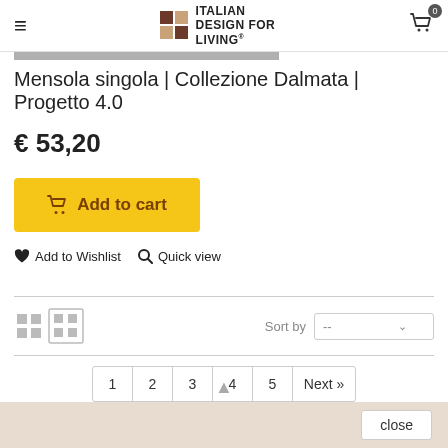Italian Design for Living — navigation header with hamburger menu, logo, and cart icon (0 items)
Mensola singola | Collezione Dalmata | Progetto 4.0
€ 53,20
Add to cart
♥ Add to Wishlist  🔍 Quick view
Sort by  --
1  2  3  4  5  Next »
close